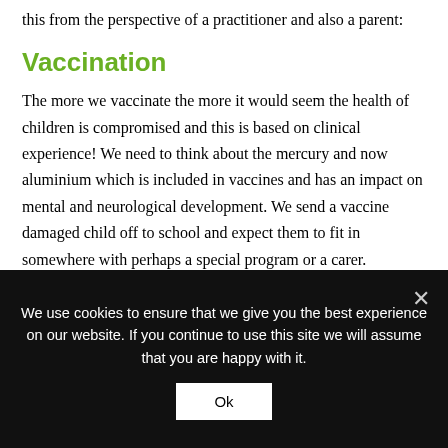this from the perspective of a practitioner and also a parent:
Vaccination
The more we vaccinate the more it would seem the health of children is compromised and this is based on clinical experience! We need to think about the mercury and now aluminium which is included in vaccines and has an impact on mental and neurological development. We send a vaccine damaged child off to school and expect them to fit in somewhere with perhaps a special program or a carer.
These children are physically and emotionally challenged by life
We use cookies to ensure that we give you the best experience on our website. If you continue to use this site we will assume that you are happy with it.